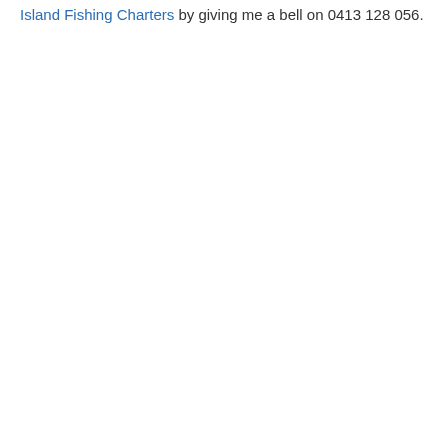Island Fishing Charters by giving me a bell on 0413 128 056.